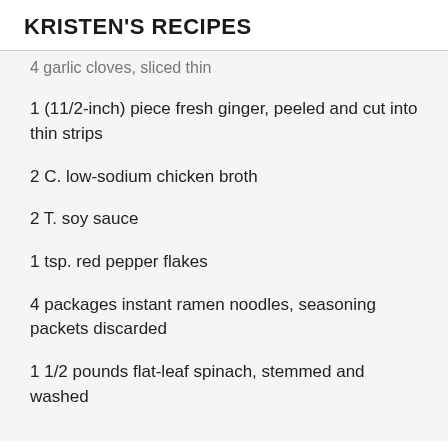KRISTEN'S RECIPES
4 garlic cloves, sliced thin
1  (11/2-inch) piece  fresh ginger,  peeled  and  cut  into thin strips
2 C. low-sodium chicken broth
2 T. soy sauce
1 tsp. red pepper flakes
4 packages instant  ramen noodles, seasoning packets discarded
1 1/2 pounds flat-leaf spinach, stemmed and washed